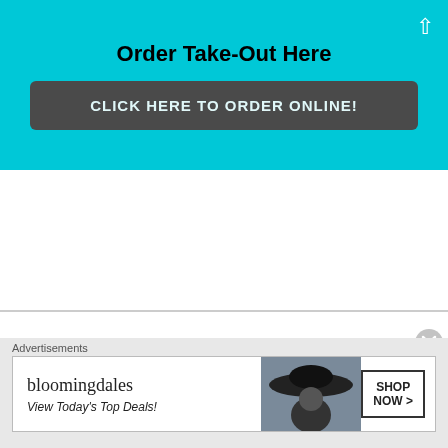Order Take-Out Here
CLICK HERE TO ORDER ONLINE!
Follow Us
[Figure (illustration): Four social media icons: Facebook, Instagram, Twitter, YouTube — all in dark gray]
Advertisements
[Figure (screenshot): Bloomingdale's advertisement: 'bloomingdales / View Today's Top Deals!' with a woman wearing a large hat and a 'SHOP NOW >' button]